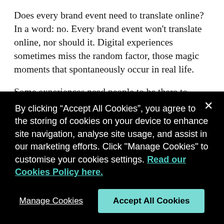Does every brand event need to translate online? In a word: no. Every brand event won't translate online, nor should it. Digital experiences sometimes miss the random factor, those magic moments that spontaneously occur in real life.
Some experiences need people to be there to touch or taste something, and there will always be Big Reveal moments when people will just want to be in the room where it
By clicking “Accept All Cookies”, you agree to the storing of cookies on your device to enhance site navigation, analyse site usage, and assist in our marketing efforts. Click "Manage Cookies" to customise your cookies settings. Read our Cookies Policy here.
Manage Cookies
Accept All Cookies